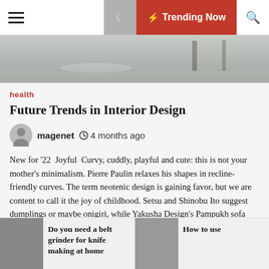☰  ☾  ⚡ Trending Now  🔍
[Figure (photo): Hero image strip showing a blurred indoor floor/room scene in grey tones]
health
Future Trends in Interior Design
magenet   🕐 4 months ago
New for '22  Joyful  Curvy, cuddly, playful and cute: this is not your mother's minimalism. Pierre Paulin relaxes his shapes in recline-friendly curves. The term neotenic design is gaining favor, but we are content to call it the joy of childhood. Setsu and Shinobu Ito suggest dumplings or maybe onigiri, while Yakusha Design's Pampukh sofa recalls the fluffy pampushky pa her native Ukraine.  Neotenic design invests furniture and décor with plump, friendly, teddy bear curves. Patricia Urquiola is leading the way [...]
Do you need a belt grinder for knife making at home
How to use